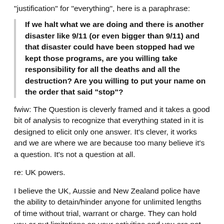“justification” for “everything”, here is a paraphrase:
If we halt what we are doing and there is another disaster like 9/11 (or even bigger than 9/11) and that disaster could have been stopped had we kept those programs, are you willing take responsibility for all the deaths and all the destruction? Are you willing to put your name on the order that said “stop”?
fwiw: The Question is cleverly framed and it takes a good bit of analysis to recognize that everything stated in it is designed to elicit only one answer. It’s clever, it works and we are where we are because too many believe it’s a question. It’s not a question at all.
re: UK powers.
I believe the UK, Aussie and New Zealand police have the ability to detain/hinder anyone for unlimited lengths of time without trial, warrant or charge. They can hold you or put limitations on your activities and you are not allowed a lawyer or have a judge review your case.